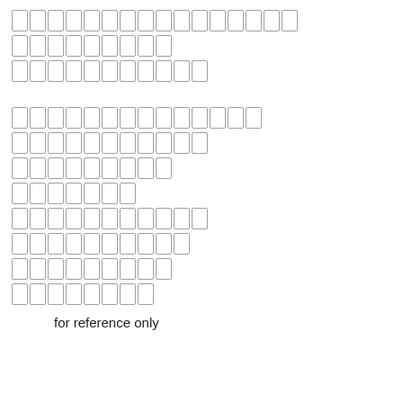[Figure (other): Redacted text block with grey outlined character boxes arranged in rows — first block has 3 rows of boxes (16, 9, 11 boxes respectively)]
[Figure (other): Redacted text block with grey outlined character boxes arranged in rows — second block has 8 rows of boxes (14, 11, 9, 7, 11, 10, 9, 8 boxes respectively)]
for reference only